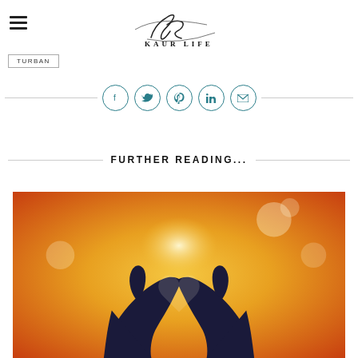KAUR LIFE
TURBAN
[Figure (other): Social media share icons in circles: Facebook, Twitter, Pinterest, LinkedIn, Email]
FURTHER READING...
[Figure (photo): Two hands forming a heart shape against a warm golden/orange sunset backlight]